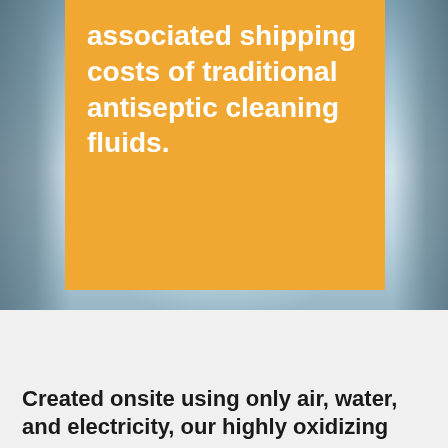[Figure (photo): Blurred hospital or clinical corridor background with blue-gray tones, showing figures or equipment on sides and bright light in the center]
associated shipping costs of traditional antiseptic cleaning fluids.
Created onsite using only air, water, and electricity, our highly oxidizing